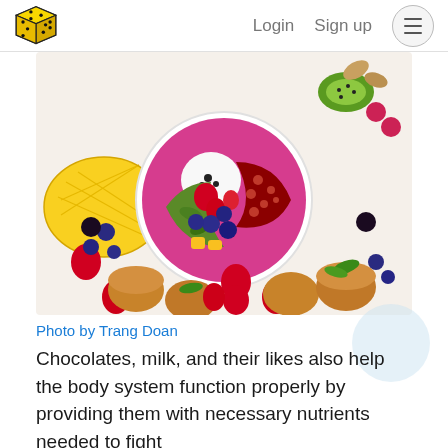Login  Sign up
[Figure (photo): Overhead flat-lay of colorful fruit bowl with smoothie, strawberries, blueberries, kiwi, mango, pomegranate, surrounded by muffins and fresh fruits on white background]
Photo by Trang Doan
Chocolates, milk, and their likes also help the body system function properly by providing them with necessary nutrients needed to fight